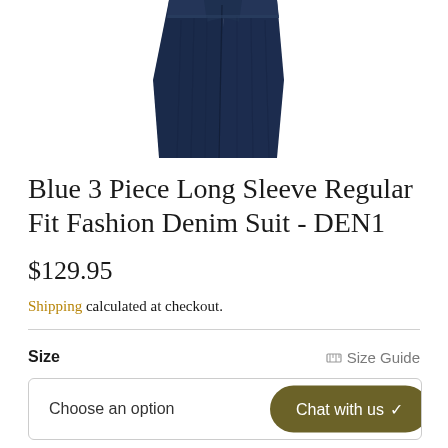[Figure (photo): Partial product image showing the lower portion of a dark navy/indigo denim suit - cropped view showing legs/pants area with folded waistband visible at top]
Blue 3 Piece Long Sleeve Regular Fit Fashion Denim Suit - DEN1
$129.95
Shipping calculated at checkout.
Size
Size Guide
Choose an option
Chat with us